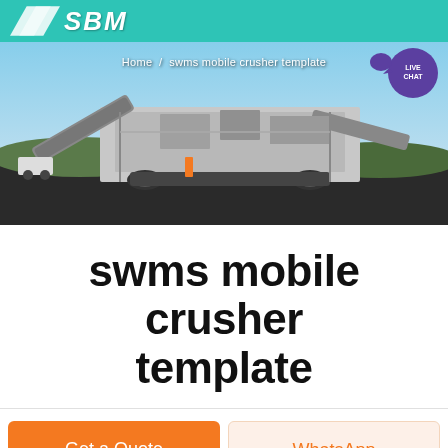SBMK (logo with header bar)
[Figure (photo): Hero banner photograph of a large mobile crusher machine / industrial screening plant on a work site with blue sky, gravel and conveyor belts. Breadcrumb text overlay: Home / swms mobile crusher template. Live Chat bubble in top right.]
swms mobile crusher template
Get a Quote
WhatsApp